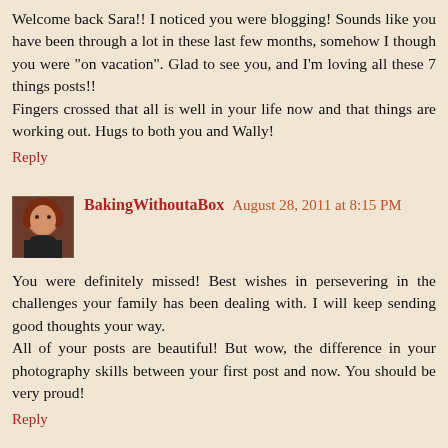Welcome back Sara!! I noticed you were blogging! Sounds like you have been through a lot in these last few months, somehow I though you were "on vacation". Glad to see you, and I'm loving all these 7 things posts!!
Fingers crossed that all is well in your life now and that things are working out. Hugs to both you and Wally!
Reply
[Figure (photo): Avatar photo of BakingWithoutaBox commenter, a woman with reddish-brown hair wearing a black top]
BakingWithoutaBox August 28, 2011 at 8:15 PM
You were definitely missed! Best wishes in persevering in the challenges your family has been dealing with. I will keep sending good thoughts your way.
All of your posts are beautiful! But wow, the difference in your photography skills between your first post and now. You should be very proud!
Reply
Simona August 28, 2011 at 10:02 PM